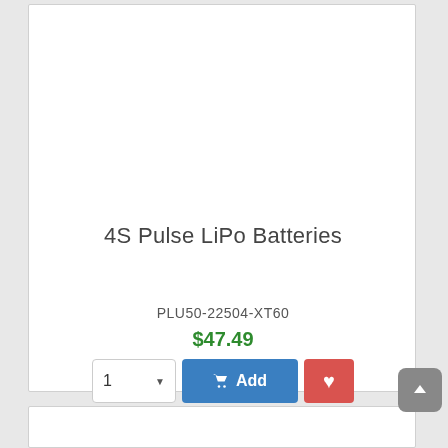4S Pulse LiPo Batteries
PLU50-22504-XT60
$47.49